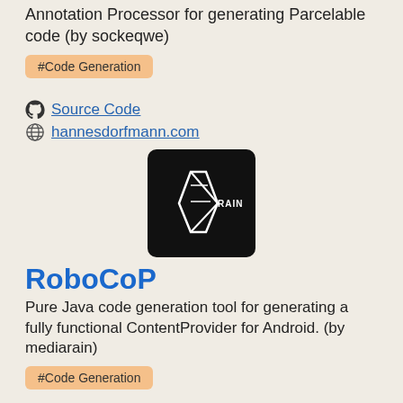Annotation Processor for generating Parcelable code (by sockeqwe)
#Code Generation
Source Code
hannesdorfmann.com
[Figure (logo): RoboCoP logo — black rounded square with a white geometric leaf/diamond shape and the word RAIN]
RoboCoP
Pure Java code generation tool for generating a fully functional ContentProvider for Android. (by mediarain)
#Code Generation